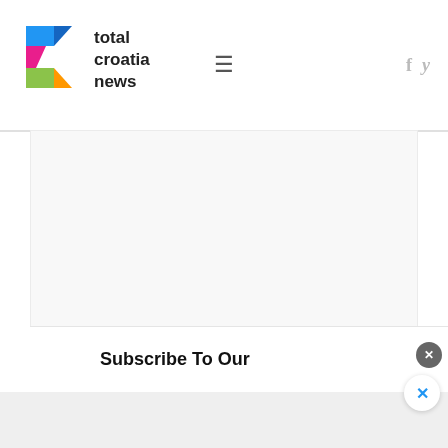[Figure (logo): Total Croatia News logo with colorful C icon and text]
[Figure (photo): Large image placeholder (white/light area) — article image about Dalmatia holiday]
Everything best about a holiday in Dalmatia is a gift of nature. Whether it's the sunshine-filled days, the crystal clear seas, the fresh food on your plate or the scent of lav[ender...] the memories o[f...]
Subscribe To Our